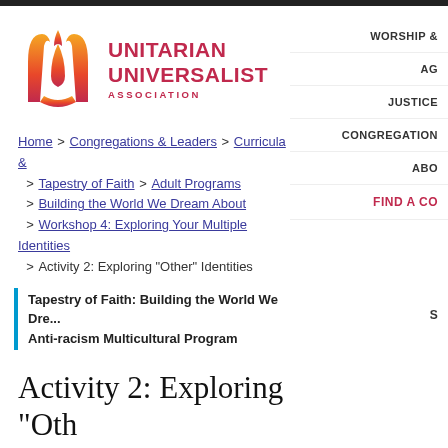[Figure (logo): Unitarian Universalist Association logo: flame icon in orange-red gradient and UUA text in red]
WORSHIP &
AG
JUSTICE
CONGREGATION
ABO
FIND A CO
Home > Congregations & Leaders > Curricula & > Tapestry of Faith > Adult Programs > Building the World We Dream About > Workshop 4: Exploring Your Multiple Identities > Activity 2: Exploring "Other" Identities
Tapestry of Faith: Building the World We Dre... Anti-racism Multicultural Program
Activity 2: Exploring "Other" Identities
Part of Building the World We Dream About